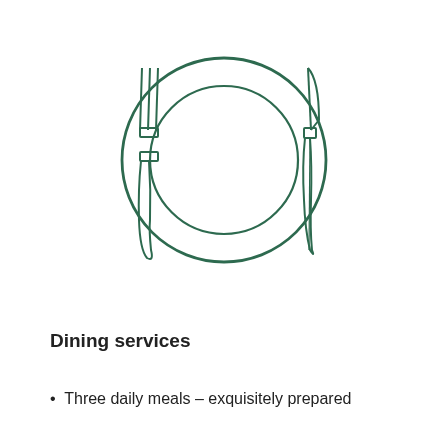[Figure (illustration): Line drawing illustration of a place setting: a fork on the left, a large plate with a smaller inner circle (plate within plate) in the center, and a knife on the right. All drawn in dark green outline style.]
Dining services
Three daily meals – exquisitely prepared